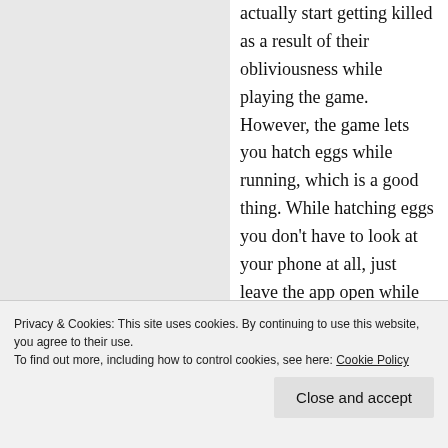actually start getting killed as a result of their obliviousness while playing the game. However, the game lets you hatch eggs while running, which is a good thing. While hatching eggs you don't have to look at your phone at all, just leave the app open while you run, and it doesn't even drain your battery! While running through my local trails in the woods I usually have my music or an audiobook playing, Runtastic tracking my route, distance and pace, and Pokemon
Privacy & Cookies: This site uses cookies. By continuing to use this website, you agree to their use.
To find out more, including how to control cookies, see here: Cookie Policy
Close and accept